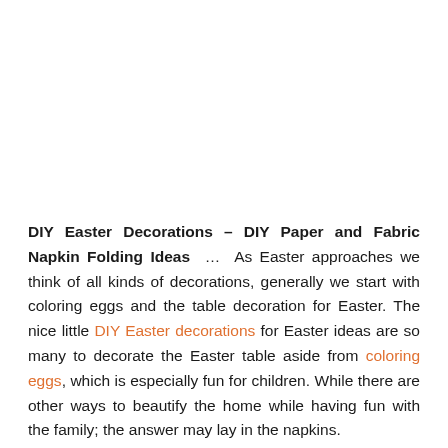DIY Easter Decorations – DIY Paper and Fabric Napkin Folding Ideas … As Easter approaches we think of all kinds of decorations, generally we start with coloring eggs and the table decoration for Easter. The nice little DIY Easter decorations for Easter ideas are so many to decorate the Easter table aside from coloring eggs, which is especially fun for children. While there are other ways to beautify the home while having fun with the family; the answer may lay in the napkins.